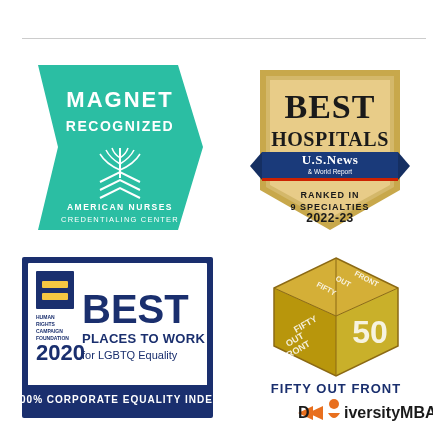[Figure (logo): Magnet Recognized - American Nurses Credentialing Center badge. Green pentagon/arrow shape with white text MAGNET RECOGNIZED and wheat/arrow emblem, with AMERICAN NURSES CREDENTIALING CENTER below.]
[Figure (logo): U.S. News & World Report Best Hospitals badge. Gold shield shape with BEST HOSPITALS at top, U.S. News & World Report blue banner, RANKED IN 9 SPECIALTIES 2022-23 text.]
[Figure (logo): Human Rights Campaign Best Places to Work for LGBTQ Equality 2020 badge. Dark blue border rectangle with HRC equal sign logo, BEST PLACES TO WORK for LGBTQ Equality, 100% CORPORATE EQUALITY INDEX.]
[Figure (logo): Fifty Out Front DiversityMBA award. Gold 3D cube with FIFTY OUT FRONT text on sides, and DiversityMBA logo below with orange arrow and text.]